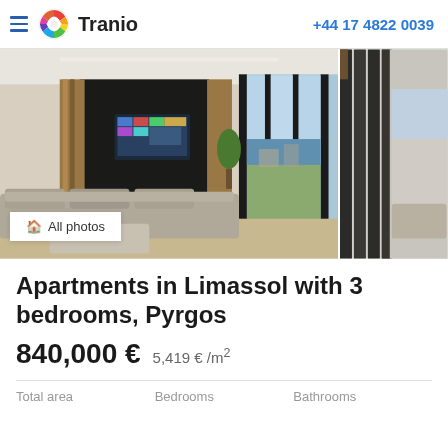Tranio  +44 17 4822 0039
[Figure (photo): Interior photo of a luxury apartment living room with modern furniture, large floor-to-ceiling windows, ocean view, and a side panel showing a balcony/terrace view]
All photos
Apartments in Limassol with 3 bedrooms, Pyrgos
840,000 €   5,419 € /m²
| Total area | Bedrooms | Bathrooms |
| --- | --- | --- |